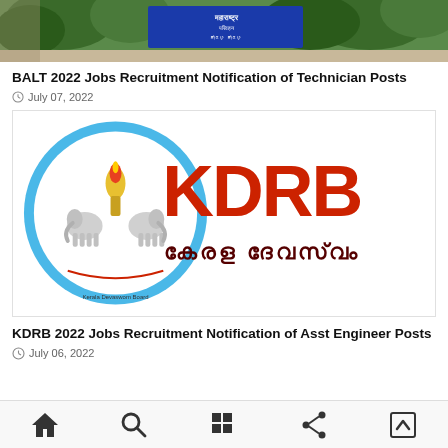[Figure (photo): Top partial image showing a building/sign with blue signboard in Hindi/Malayalam script, with trees in background]
BALT 2022 Jobs Recruitment Notification of Technician Posts
July 07, 2022
[Figure (logo): KDRB Kerala Devaswom Board logo — circular emblem with elephants and lamp on left, large red KDRB text and Malayalam text on right]
KDRB 2022 Jobs Recruitment Notification of Asst Engineer Posts
July 06, 2022
Home | Search | Grid | Share | Up